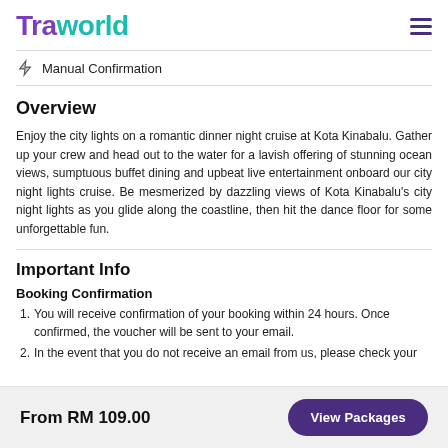Traworld
Manual Confirmation
Overview
Enjoy the city lights on a romantic dinner night cruise at Kota Kinabalu. Gather up your crew and head out to the water for a lavish offering of stunning ocean views, sumptuous buffet dining and upbeat live entertainment onboard our city night lights cruise. Be mesmerized by dazzling views of Kota Kinabalu's city night lights as you glide along the coastline, then hit the dance floor for some unforgettable fun.
Important Info
Booking Confirmation
You will receive confirmation of your booking within 24 hours. Once confirmed, the voucher will be sent to your email.
In the event that you do not receive an email from us, please check your
From RM 109.00  View Packages